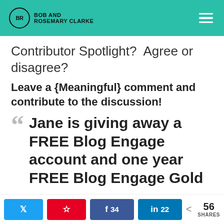BOB AND ROSEMARY CLARKE
Contributor Spotlight?  Agree or disagree?
Leave a {Meaningful} comment and contribute to the discussion!
Jane is giving away a FREE Blog Engage account and one year FREE Blog Engage Gold
56 SHARES